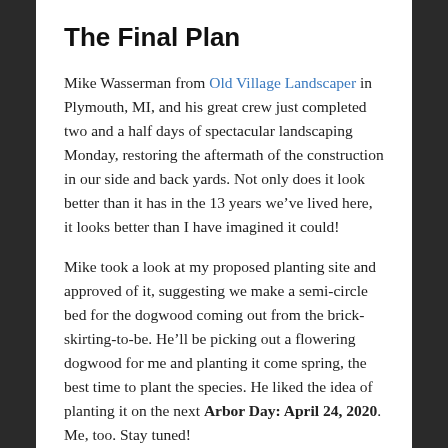The Final Plan
Mike Wasserman from Old Village Landscaper in Plymouth, MI, and his great crew just completed two and a half days of spectacular landscaping Monday, restoring the aftermath of the construction in our side and back yards. Not only does it look better than it has in the 13 years we've lived here, it looks better than I have imagined it could!
Mike took a look at my proposed planting site and approved of it, suggesting we make a semi-circle bed for the dogwood coming out from the brick-skirting-to-be. He'll be picking out a flowering dogwood for me and planting it come spring, the best time to plant the species. He liked the idea of planting it on the next Arbor Day: April 24, 2020. Me, too. Stay tuned!